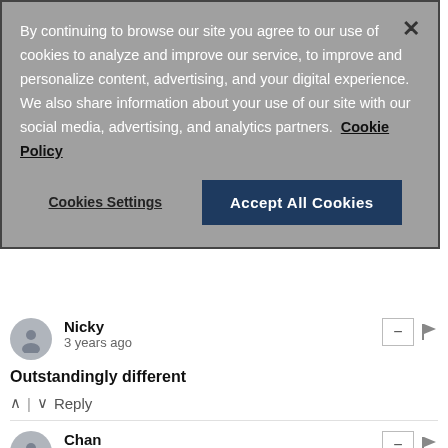By continuing to browse our site you agree to our use of cookies to analyze and improve our service, to improve and personalize content, advertising, and your digital experience. We also share information about your use of our site with our social media, advertising, and analytics partners.  Cookie Policy
Cookies Settings
Accept All Cookies
Nicky
3 years ago
Outstandingly different
^ | v  Reply
Chan
3 years ago
□□
^ | v  Reply